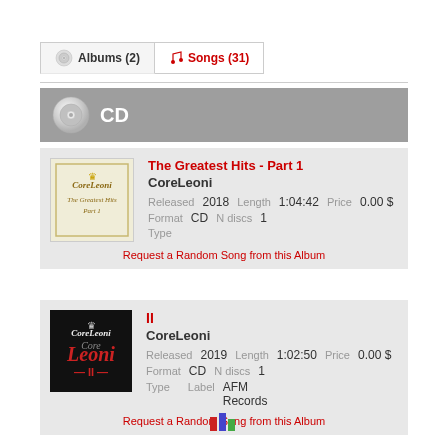Albums (2)
Songs (31)
CD
The Greatest Hits - Part 1 | CoreLeoni | Released 2018 Length 1:04:42 Price 0.00 $ Format CD N discs 1 Type | Request a Random Song from this Album
II | CoreLeoni | Released 2019 Length 1:02:50 Price 0.00 $ Format CD N discs 1 Type Label AFM Records | Request a Random Song from this Album